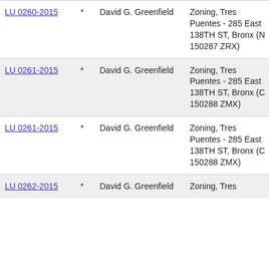|  |  | Name | Description |
| --- | --- | --- | --- |
| LU 0260-2015 | * | David G. Greenfield | Zoning, Tres Puentes - 285 East 138TH ST, Bronx (N 150287 ZRX) |
| LU 0261-2015 | * | David G. Greenfield | Zoning, Tres Puentes - 285 East 138TH ST, Bronx (C 150288 ZMX) |
| LU 0261-2015 | * | David G. Greenfield | Zoning, Tres Puentes - 285 East 138TH ST, Bronx (C 150288 ZMX) |
| LU 0262-2015 | * | David G. Greenfield | Zoning, Tres |